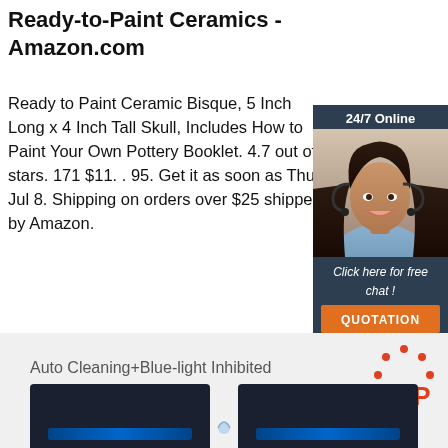Ready-to-Paint Ceramics - Amazon.com
Ready to Paint Ceramic Bisque, 5 Inch Long x 4 Inch Tall Skull, Includes How to Paint Your Own Pottery Booklet. 4.7 out of 5 stars. 171 $11. . 95. Get it as soon as Thu, Jul 8. Shipping on orders over $25 shipped by Amazon.
[Figure (other): Chat widget with woman wearing headset, '24/7 Online' bar, 'Click here for free chat!' text, and orange QUOTATION button]
[Figure (other): Orange 'Get Price' button]
[Figure (other): Advertisement banner: Auto Cleaning+Blue-light Inhibited, TOP logo in red, two dark devices shown at bottom]